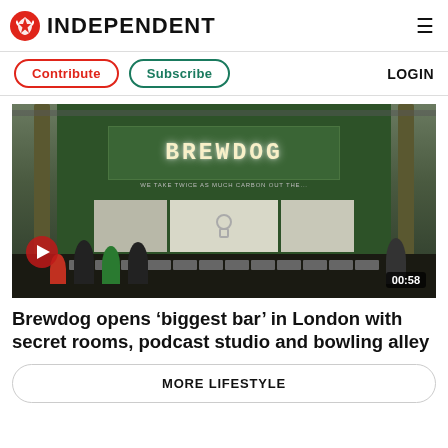INDEPENDENT
Contribute  Subscribe  LOGIN
[Figure (photo): Interior of Brewdog bar showing the illuminated BREWDOG sign on a green background, bar counter with taps, screen displays, and people at the bar. Video thumbnail with play button and duration 00:58.]
Brewdog opens ‘biggest bar’ in London with secret rooms, podcast studio and bowling alley
MORE LIFESTYLE